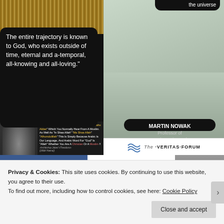[Figure (photo): Collage of religious and philosophical images: Quran book, 'God is dead' Nietzsche quote vs reply, Palestinian Christian archbishop quote, Martin Nowak quote from Veritas Forum, and Pfander Foundation logo]
"God is dead." - Nietzsche, 1883
"Nietzsche is dead." - God, 1900
I Am A "Palestinian Christian" We Also Say "Allahu Akber" Which You Normally Hear From A Muslim. As Well As "In Shaa Allah" "Ma Shaa Allah" "Alhumdulillah" This Is Simply Because Arabic Is Our Language, And Arabic Word For "God" Is "Allah" Whether You Are A Christian Or A Muslim !! -Archbishop Jaberi´sTheodoros- {{Allahäk Haena}}
the universe
The entire trajectory is known to God, who exists outside of time, eternal and a-temporal, all-knowing and all-loving."
MARTIN NOWAK
Professor of Mathematics and Biology
Harvard
[Figure (logo): The Veritas Forum logo with wave symbol]
[Figure (logo): Pfander Foundation logo with blue/yellow/white circular icon]
Privacy & Cookies: This site uses cookies. By continuing to use this website, you agree to their use.
To find out more, including how to control cookies, see here: Cookie Policy
Close and accept